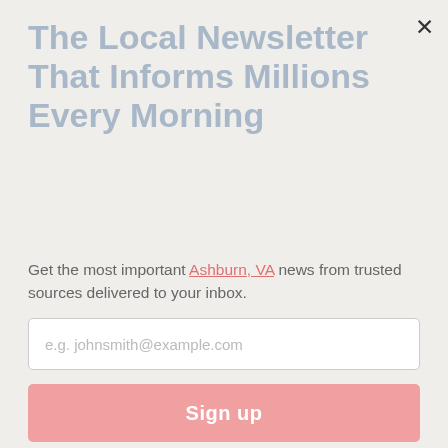The Local Newsletter That Informs Millions Every Morning
Get the most important Ashburn, VA news from trusted sources delivered to your inbox.
e.g. johnsmith@example.com
Sign up
[Figure (illustration): NewsBreak app promotional icon with megaphone and flag elements]
Chase Rice (born September 19, 1985) is an American country music singer, songwriter, and reality television personality. Rice is also a former college football linebacker for the University of